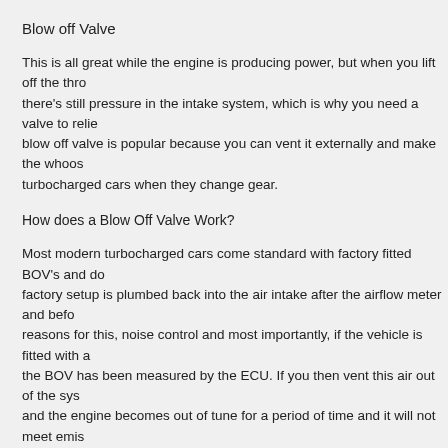Blow off Valve
This is all great while the engine is producing power, but when you lift off the throttle there's still pressure in the intake system, which is why you need a valve to relieve it. A blow off valve is popular because you can vent it externally and make the whooshing noise turbocharged cars when they change gear.
How does a Blow Off Valve Work?
Most modern turbocharged cars come standard with factory fitted BOV's and don't... factory setup is plumbed back into the air intake after the airflow meter and before... reasons for this, noise control and most importantly, if the vehicle is fitted with an... the BOV has been measured by the ECU. If you then vent this air out of the system... and the engine becomes out of tune for a period of time and it will not meet emis...
How does a wastegate work?
A wastegate is a different thing entirely, as this is used to stop the turbo from pro... spinning too fast. This is usually activated through a spill valve in the exhaust sys... operated by a spring relief valve that regulates the speed of the turbocharger rot... pressure.
This ensures that your boost doesn't overpressurize the engine and result in eng... the fuel in the cylinders explodes under heat and pressure rather than being bur... correct time in the compression stroke.